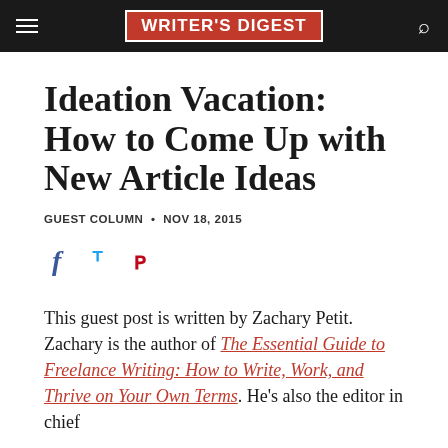WRITER'S DIGEST
Ideation Vacation: How to Come Up with New Article Ideas
GUEST COLUMN • NOV 18, 2015
[Figure (other): Social share icons: Facebook (f), Twitter (bird), Pinterest (p)]
This guest post is written by Zachary Petit. Zachary is the author of The Essential Guide to Freelance Writing: How to Write, Work, and Thrive on Your Own Terms. He's also the editor in chief